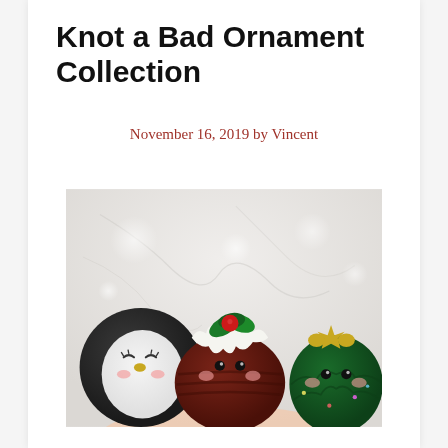Knot a Bad Ornament Collection
November 16, 2019 by Vincent
[Figure (photo): Three crocheted Christmas ornament figures: a penguin (left), a Christmas pudding with holly on top (center), and a Christmas tree character (right), photographed against a marble background.]